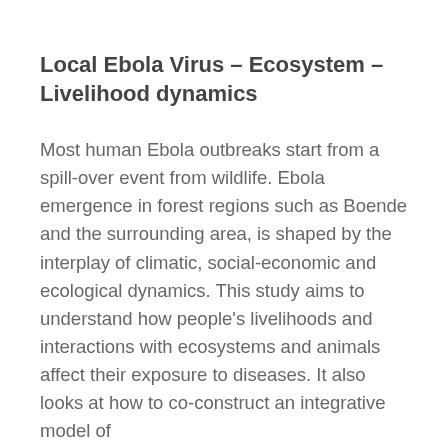Local Ebola Virus – Ecosystem – Livelihood dynamics
Most human Ebola outbreaks start from a spill-over event from wildlife. Ebola emergence in forest regions such as Boende and the surrounding area, is shaped by the interplay of climatic, social-economic and ecological dynamics. This study aims to understand how people's livelihoods and interactions with ecosystems and animals affect their exposure to diseases. It also looks at how to co-construct an integrative model of